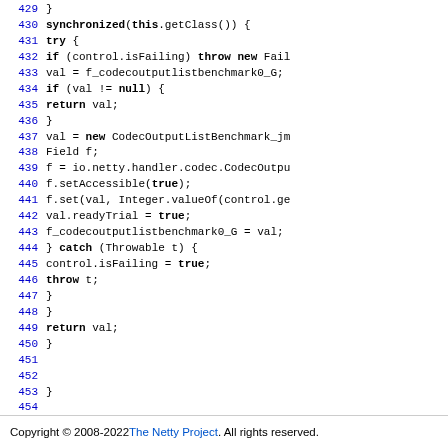Code listing lines 429–454: synchronized block with try/catch, field access, and return statement
Copyright © 2008-2022 The Netty Project. All rights reserved.